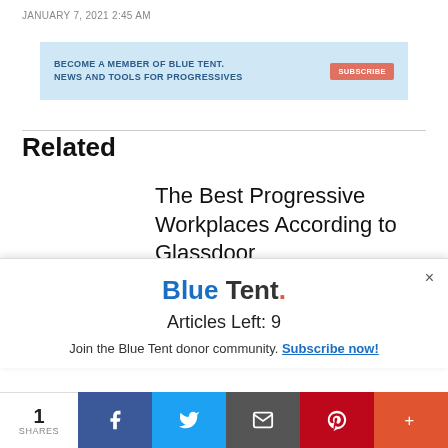JANUARY 7, 2021 2:45 AM
[Figure (infographic): Blue Tent advertisement banner: 'BECOME A MEMBER OF BLUE TENT. NEWS AND TOOLS FOR PROGRESSIVES' with a salmon/orange SUBSCRIBE button]
Related
The Best Progressive Workplaces According to Glassdoor
[Figure (infographic): Blue Tent popup overlay showing logo 'Blue Tent.' in blue/grey/red, 'Articles Left: 9', and 'Join the Blue Tent donor community. Subscribe now!' with a close (x) button]
[Figure (infographic): Social share bar at bottom: count '1 SHARES', Facebook (blue), Twitter (light blue), Email (grey), Pinterest (red), More (orange-red) buttons]